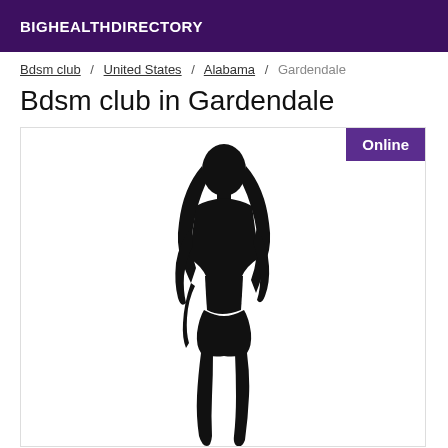BIGHEALTHDIRECTORY
Bdsm club / United States / Alabama / Gardendale
Bdsm club in Gardendale
[Figure (illustration): A black silhouette of a woman with long hair in a standing pose against a white background, with an 'Online' badge in the top right corner of the card.]